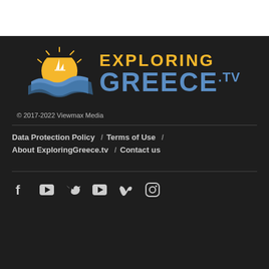[Figure (logo): Exploring Greece.tv logo with sun/wave illustration and text 'EXPLORING GREECE.tv']
© 2017-2022 Viewmax Media
Data Protection Policy / Terms of Use / About ExploringGreece.tv / Contact us
[Figure (illustration): Social media icons: Facebook, YouTube, Twitter, YouTube, Vimeo, Instagram]